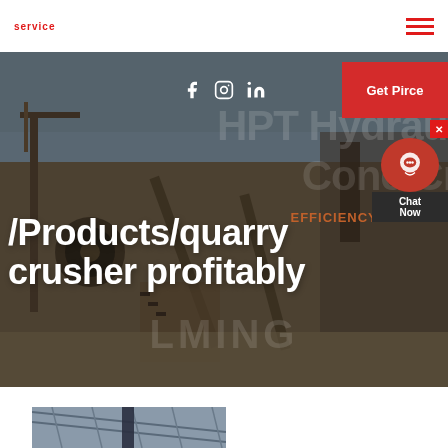service
[Figure (screenshot): Industrial crusher/quarry equipment scene with large machinery, conveyor belts, and structures in an outdoor industrial setting. Dark reddish-brown toned photograph used as hero background.]
Get Pirce
/Products/quarry crusher profitably
EFFICIENCY INCREA
[Figure (screenshot): Partial interior steel structure photo at bottom of page showing metal framework.]